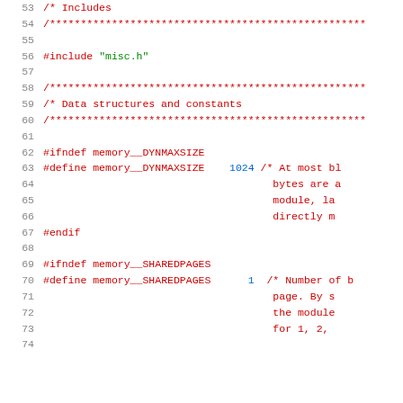Source code listing — C preprocessor directives, lines 53-74
53  /* Includes
54  /***********************************************
55  (blank)
56  #include "misc.h"
57  (blank)
58  /***********************************************
59  /* Data structures and constants
60  /***********************************************
61  (blank)
62  #ifndef memory__DYNMAXSIZE
63  #define memory__DYNMAXSIZE    1024 /* At most bl...
64                                          bytes are a...
65                                          module, la...
66                                          directly m...
67  #endif
68  (blank)
69  #ifndef memory__SHAREDPAGES
70  #define memory__SHAREDPAGES      1  /* Number of b...
71                                          page. By s...
72                                          the module...
73                                          for 1, 2, ...
74  (partial)